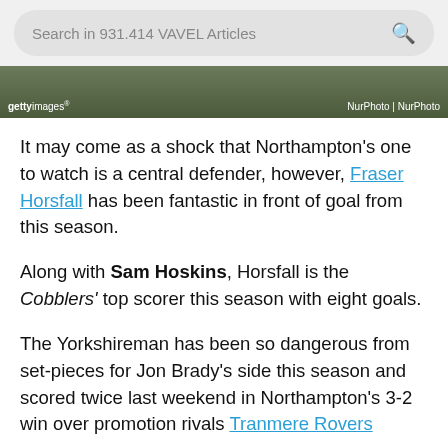Search in 931.414 VAVEL Articles
[Figure (photo): Getty Images photo strip with 'gettyimages' watermark on left and 'NurPhoto | NurPhoto' credit on right, showing partial sports image with dark green background]
It may come as a shock that Northampton's one to watch is a central defender, however, Fraser Horsfall has been fantastic in front of goal from this season.
Along with Sam Hoskins, Horsfall is the Cobblers' top scorer this season with eight goals.
The Yorkshireman has been so dangerous from set-pieces for Jon Brady's side this season and scored twice last weekend in Northampton's 3-2 win over promotion rivals Tranmere Rovers